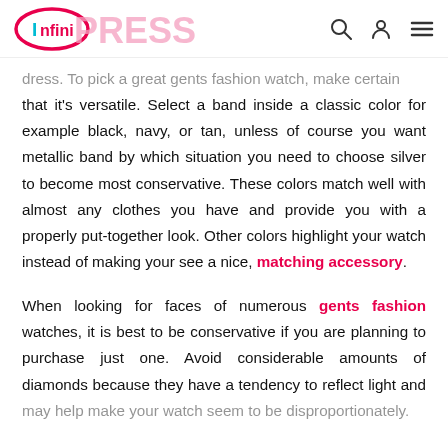InfiniPress [logo with search, user, menu icons]
dress. To pick a great gents fashion watch, make certain that it's versatile. Select a band inside a classic color for example black, navy, or tan, unless of course you want metallic band by which situation you need to choose silver to become most conservative. These colors match well with almost any clothes you have and provide you with a properly put-together look. Other colors highlight your watch instead of making your see a nice, matching accessory.
When looking for faces of numerous gents fashion watches, it is best to be conservative if you are planning to purchase just one. Avoid considerable amounts of diamonds because they have a tendency to reflect light and may help make your watch seem to be disproportionately.